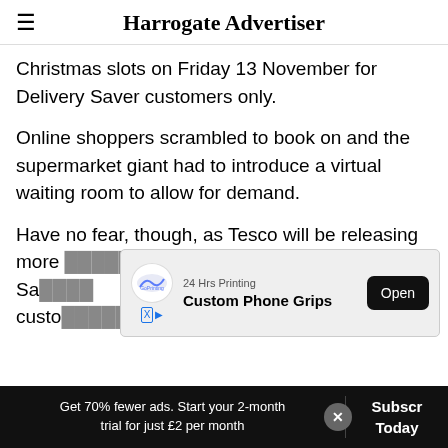Harrogate Advertiser
Christmas slots on Friday 13 November for Delivery Saver customers only.
Online shoppers scrambled to book on and the supermarket giant had to introduce a virtual waiting room to allow for demand.
Have no fear, though, as Tesco will be releasing more... Delivery Saver customers...
[Figure (screenshot): Advertisement banner for 24 Hrs Printing - Custom Phone Grips with an Open button]
Get 70% fewer ads. Start your 2-month trial for just £2 per month